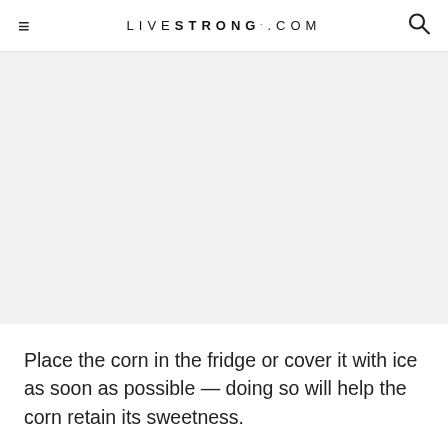LIVESTRONG.COM
[Figure (photo): Gray placeholder image area representing a photo of corn]
Place the corn in the fridge or cover it with ice as soon as possible — doing so will help the corn retain its sweetness.